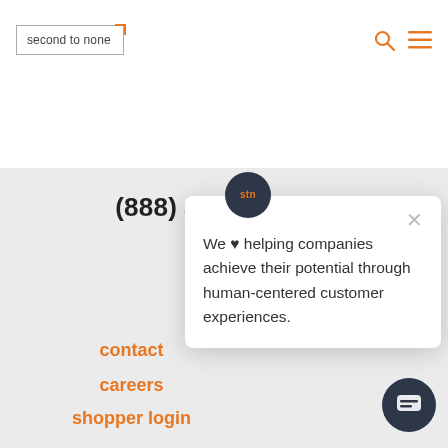[Figure (logo): Second to None logo in a bordered box with orange corner accent]
[Figure (screenshot): Website header with search icon and hamburger menu icons in orange]
(888) 4-CUSTJOY
We ♥ helping companies achieve their potential through human-centered customer experiences.
contact
careers
shopper login